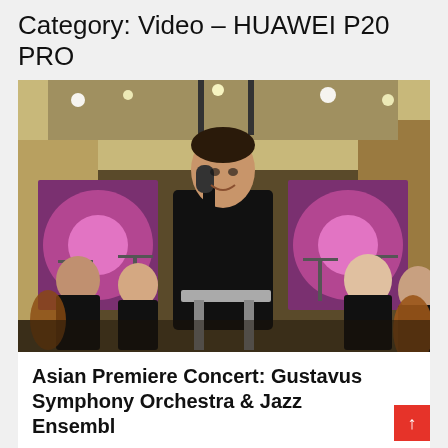Category: Video – HUAWEI P20 PRO
[Figure (photo): A conductor or speaker in a black outfit stands at a podium holding a microphone, performing in front of an orchestra with musicians seated around them in a concert hall with colorful stage lighting.]
Asian Premiere Concert: Gustavus Symphony Orchestra & Jazz Ensembl
February 1, 2020